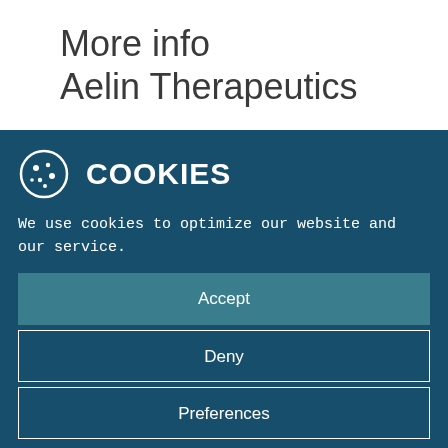More info
Aelin Therapeutics
COOKIES
We use cookies to optimize our website and our service.
Accept
Deny
Preferences